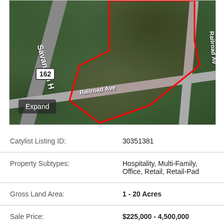[Figure (map): Aerial satellite map showing a land parcel near Savannah Highway and Railroad Ave, with a red boundary polygon outlining the property. Route 162 marker visible. 'Expand' button in lower left corner.]
| Catylist Listing ID: | 30351381 |
| Property Subtypes: | Hospitality, Multi-Family, Office, Retail, Retail-Pad |
| Gross Land Area: | 1 - 20 Acres |
| Sale Price: | $225,000 - 4,500,000 |